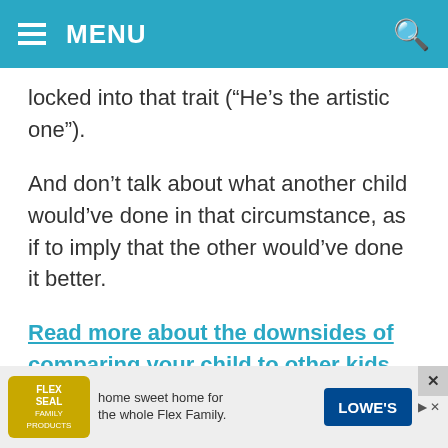MENU
locked into that trait (“He’s the artistic one”).
And don’t talk about what another child would’ve done in that circumstance, as if to imply that the other would’ve done it better.
Read more about the downsides of comparing your child to other kids.
6. Encourage empathy
Kids d…ow